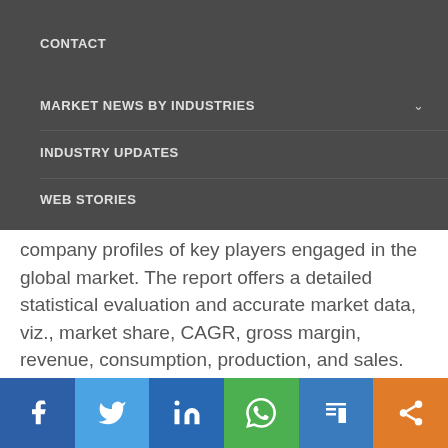CONTACT
MARKET NEWS BY INDUSTRIES
INDUSTRY UPDATES
WEB STORIES
company profiles of key players engaged in the global market. The report offers a detailed statistical evaluation and accurate market data, viz., market share, CAGR, gross margin, revenue, consumption, production, and sales.
Get a sample of the report @https://www.emergenresearch.com/request-sample/523